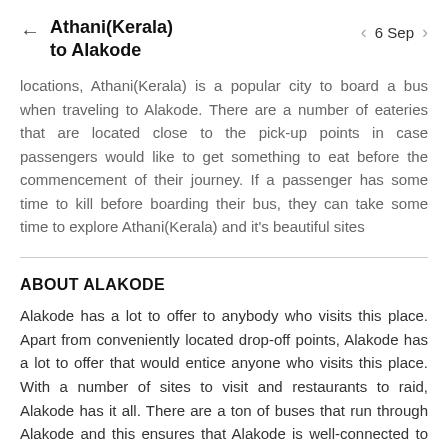Athani(Kerala) to Alakode — 6 Sep
locations, Athani(Kerala) is a popular city to board a bus when traveling to Alakode. There are a number of eateries that are located close to the pick-up points in case passengers would like to get something to eat before the commencement of their journey. If a passenger has some time to kill before boarding their bus, they can take some time to explore Athani(Kerala) and it's beautiful sites
ABOUT ALAKODE
Alakode has a lot to offer to anybody who visits this place. Apart from conveniently located drop-off points, Alakode has a lot to offer that would entice anyone who visits this place. With a number of sites to visit and restaurants to raid, Alakode has it all. There are a ton of buses that run through Alakode and this ensures that Alakode is well-connected to the rest of the country. Don't think twice,